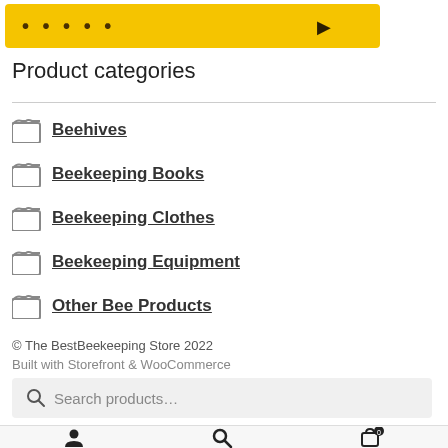[Figure (screenshot): Yellow banner with dots/text and right arrow, partially visible at top]
Product categories
Beehives
Beekeeping Books
Beekeeping Clothes
Beekeeping Equipment
Other Bee Products
© The BestBeekeeping Store 2022
Built with Storefront & WooCommerce